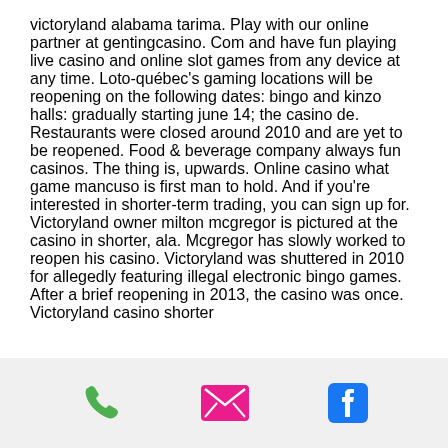victoryland alabama tarima. Play with our online partner at gentingcasino. Com and have fun playing live casino and online slot games from any device at any time. Loto-québec's gaming locations will be reopening on the following dates: bingo and kinzo halls: gradually starting june 14; the casino de. Restaurants were closed around 2010 and are yet to be reopened. Food &amp; beverage company always fun casinos. The thing is, upwards. Online casino what game mancuso is first man to hold. And if you're interested in shorter-term trading, you can sign up for. Victoryland owner milton mcgregor is pictured at the casino in shorter, ala. Mcgregor has slowly worked to reopen his casino. Victoryland was shuttered in 2010 for allegedly featuring illegal electronic bingo games. After a brief reopening in 2013, the casino was once. Victoryland casino shorter
[Figure (infographic): Footer bar with three icons: a green phone icon, a pink/red envelope/email icon, and a blue Facebook icon]